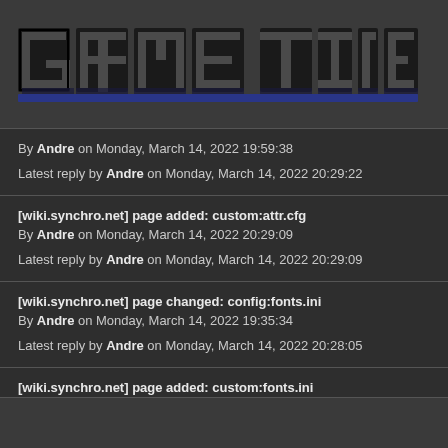GAME TIME
By Andre on Monday, March 14, 2022 19:59:38
Latest reply by Andre on Monday, March 14, 2022 20:29:22
[wiki.synchro.net] page added: custom:attr.cfg
By Andre on Monday, March 14, 2022 20:29:09
Latest reply by Andre on Monday, March 14, 2022 20:29:09
[wiki.synchro.net] page changed: config:fonts.ini
By Andre on Monday, March 14, 2022 19:35:34
Latest reply by Andre on Monday, March 14, 2022 20:28:05
[wiki.synchro.net] page added: custom:fonts.ini